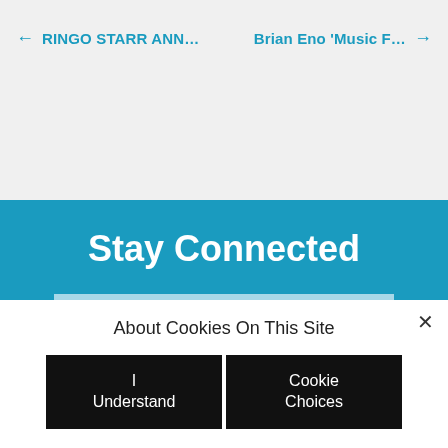← RINGO STARR ANN...    Brian Eno 'Music F...  →
Stay Connected
EMAIL ADDRESS (REQUIRED)
About Cookies On This Site
I Understand
Cookie Choices